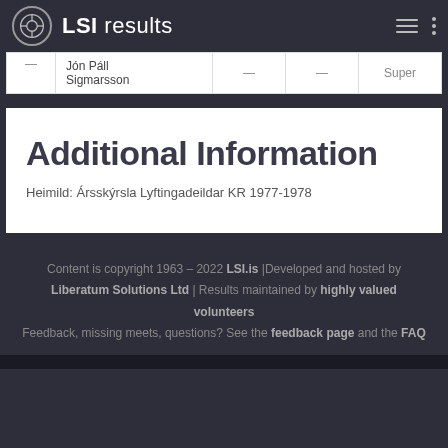LSI results
|  | Name |  |  | Super |
| --- | --- | --- | --- | --- |
|  | Jón Páll Sigmarsson |  |  |  |
Additional Information
Heimild: Ársskýrsla Lyftingadeildar KR 1977-1978
Content is copyright 1963 – 2022 LSI.is | Developed and hosted by Liberatum Solutions Ltd | Results maintained by highly valued volunteers Feedback, missing meets, questions? See the feedback page and the FAQ